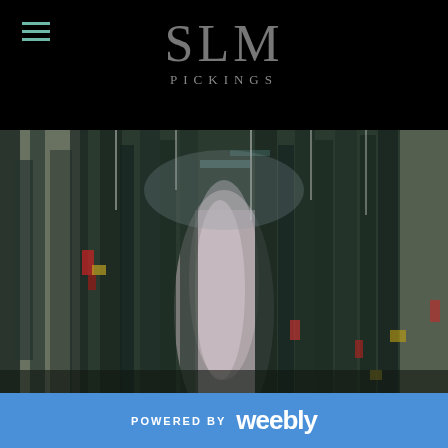SLM PICKINGS
[Figure (illustration): Abstract expressionist painting with thick impasto brushstrokes in dark blues, greens, blacks, and grays with areas of white and pink in the center, and accents of red and yellow. The painting has a textured, heavily layered surface reminiscent of a forest or waterfall.]
POWERED BY weebly